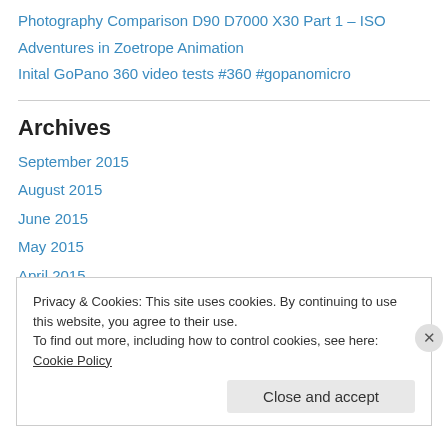Photography Comparison D90 D7000 X30 Part 1 – ISO
Adventures in Zoetrope Animation
Inital GoPano 360 video tests #360 #gopanomicro
Archives
September 2015
August 2015
June 2015
May 2015
April 2015
March 2015
Privacy & Cookies: This site uses cookies. By continuing to use this website, you agree to their use.
To find out more, including how to control cookies, see here: Cookie Policy